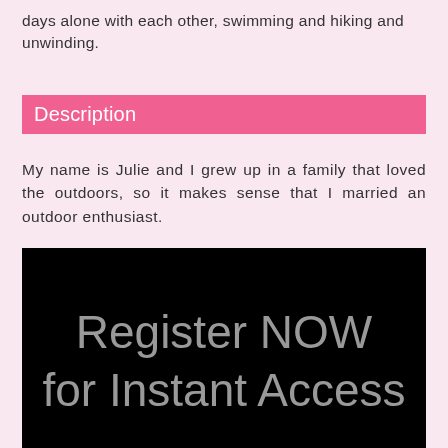days alone with each other, swimming and hiking and unwinding.
Description
My name is Julie and I grew up in a family that loved the outdoors, so it makes sense that I married an outdoor enthusiast.
[Figure (other): Black background image with grey text reading 'Register NOW for Instant Access']